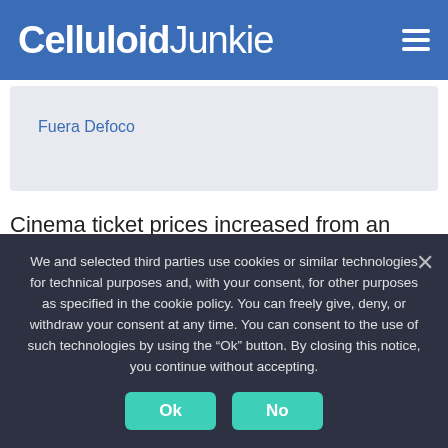Celluloid Junkie
Fuera Defoco
Cinema ticket prices increased from an average of MXN 57.2 (USD $2.84) in 2020 to MXN 64.9 (USD $3.23) in 2021. As also seen in countries such as South Korea, there has been a net loss of jobs in the cinema sector
We and selected third parties use cookies or similar technologies for technical purposes and, with your consent, for other purposes as specified in the cookie policy. You can freely give, deny, or withdraw your consent at any time. You can consent to the use of such technologies by using the “Ok” button. By closing this notice, you continue without accepting.